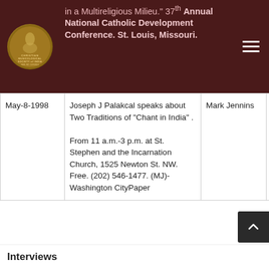in a Multireligious Milieu." 37th Annual National Catholic Development Conference. St. Louis, Missouri.
| Date | Description | Name | Place |
| --- | --- | --- | --- |
| May-8-1998 | Joseph J Palakcal speaks about Two Traditions of "Chant in India" .

From 11 a.m.-3 p.m. at St. Stephen and the Incarnation Church, 1525 Newton St. NW. Free. (202) 546-1477. (MJ)- Washington CityPaper | Mark Jennins | Was |
Interviews